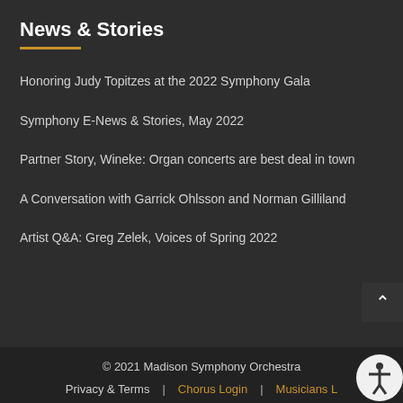News & Stories
Honoring Judy Topitzes at the 2022 Symphony Gala
Symphony E-News & Stories, May 2022
Partner Story, Wineke: Organ concerts are best deal in town
A Conversation with Garrick Ohlsson and Norman Gilliland
Artist Q&A: Greg Zelek, Voices of Spring 2022
© 2021 Madison Symphony Orchestra | Privacy & Terms | Chorus Login | Musicians Login